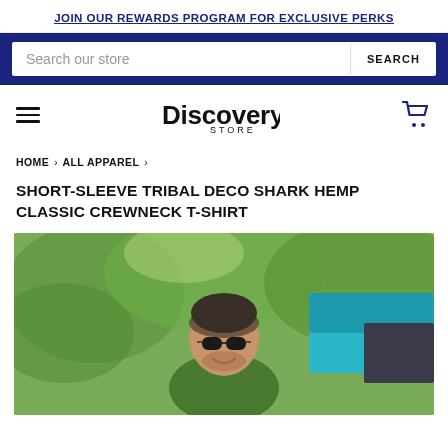JOIN OUR REWARDS PROGRAM FOR EXCLUSIVE PERKS
Search our store
SEARCH
[Figure (logo): Discovery Store logo with stylized D]
HOME › ALL APPAREL ›
SHORT-SLEEVE TRIBAL DECO SHARK HEMP CLASSIC CREWNECK T-SHIRT
[Figure (photo): Man wearing sunglasses and a green t-shirt, smiling outdoors with green foliage and a teal vehicle in the background]